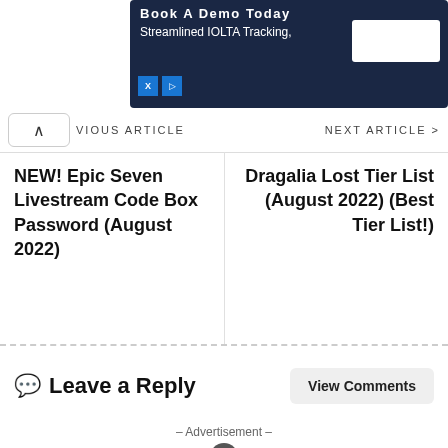[Figure (screenshot): Advertisement banner for IOLTA tracking service with dark navy background, 'Book A Demo Today' headline, 'Streamlined IOLTA Tracking' subtext, white button on right side]
< VIOUS ARTICLE   NEW! Epic Seven Livestream Code Box Password (August 2022)
NEXT ARTICLE >   Dragalia Lost Tier List (August 2022) (Best Tier List!)
Leave a Reply
View Comments
– Advertisement –
[Figure (screenshot): Advertisement panel with dark blue-grey background, 'Try It F...' text in cyan on the left, and a video thumbnail on the right showing aerial footage with 'Bay trên 63 tỉnh t...' title, play button, 'DONG BAC BO' label in red, and 'PHU THO' location text]